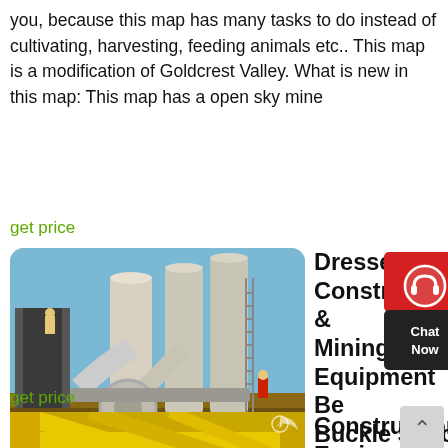you, because this map has many tasks to do instead of cultivating, harvesting, feeding animals etc.. This map is a modification of Goldcrest Valley. What is new in this map: This map has a open sky mine
get price
[Figure (photo): Industrial mining/milling equipment with large white silos and pipes, photographed outdoors, dated 2012/09/13]
Dresser Construction & Mining Equipment Be Buckle Spec
[Figure (other): Chat Now widget with red circle containing headset icon and X button]
The back reads Spec Cast Inc. Rockford, Ill. The loop is 1 and 1/2".
get price
[Figure (photo): Yellow construction/mining equipment machinery photographed from above]
Construction Equipment Manufacturers Bulldozers,